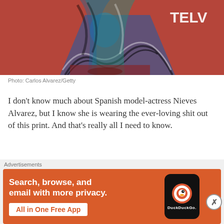[Figure (photo): Partial photo of a person wearing a bold blue and black zebra/wave-print dress/outfit, standing against a red background with 'TELV' (Telva) text visible in the upper right corner.]
Photo: Carlos Alvarez/Getty
I don't know much about Spanish model-actress Nieves Alvarez, but I know she is wearing the ever-loving shit out of this print. And that's really all I need to know.
EVANGELINE LILLY in London
dress by Room Aero
Advertisements
[Figure (screenshot): DuckDuckGo advertisement banner on orange background. Text reads: 'Search, browse, and email with more privacy. All in One Free App' with DuckDuckGo logo on a phone mockup.]